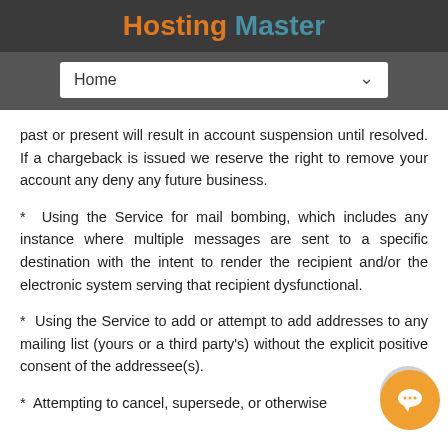Hosting Master
[Figure (screenshot): Navigation dropdown showing 'Home' with a chevron arrow]
past or present will result in account suspension until resolved. If a chargeback is issued we reserve the right to remove your account any deny any future business.
* Using the Service for mail bombing, which includes any instance where multiple messages are sent to a specific destination with the intent to render the recipient and/or the electronic system serving that recipient dysfunctional.
* Using the Service to add or attempt to add addresses to any mailing list (yours or a third party's) without the explicit positive consent of the addressee(s).
* Attempting to cancel, supersede, or otherwise interfere with others the...